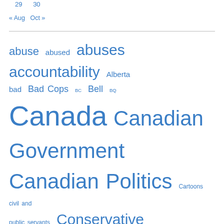29    30
« Aug    Oct »
abuse abused abuses accountability Alberta bad Bad Cops BC Bell BQ Canada Canadian Government Canadian Politics Cartoons civil and public servants Conservative conservative party Conservative Party of Canada Conservatives cops Corruption CRTC doctors ex MP Vic Toews ex PM Harper ex Prime Minister federal Finance Minister free speech government